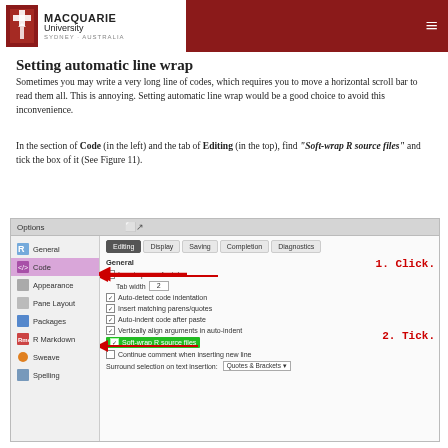Macquarie University - Sydney Australia
Setting automatic line wrap
Sometimes you may write a very long line of codes, which requires you to move a horizontal scroll bar to read them all. This is annoying. Setting automatic line wrap would be a good choice to avoid this inconvenience.
In the section of Code (in the left) and the tab of Editing (in the top), find "Soft-wrap R source files" and tick the box of it (See Figure 11).
[Figure (screenshot): RStudio Options dialog screenshot showing the Code > Editing tab. Annotations in red: '1. Click.' with arrow pointing to Code in sidebar, '2. Tick.' with arrow pointing to the Soft-wrap R source files checkbox (highlighted in green).]